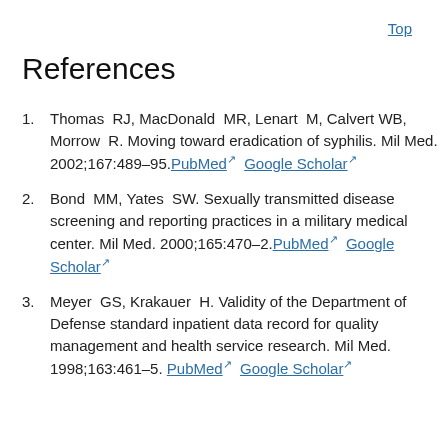Top
References
Thomas RJ, MacDonald MR, Lenart M, Calvert WB, Morrow R. Moving toward eradication of syphilis. Mil Med. 2002;167:489–95. PubMed  Google Scholar
Bond MM, Yates SW. Sexually transmitted disease screening and reporting practices in a military medical center. Mil Med. 2000;165:470–2. PubMed  Google Scholar
Meyer GS, Krakauer H. Validity of the Department of Defense standard inpatient data record for quality management and health service research. Mil Med. 1998;163:461–5. PubMed  Google Scholar